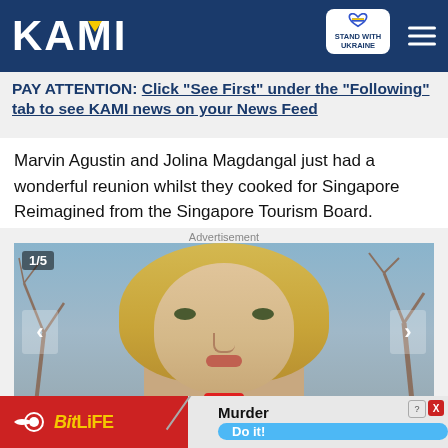[Figure (logo): KAMI logo on dark blue header with Ukraine badge and hamburger menu]
PAY ATTENTION: Click "See First" under the "Following" tab to see KAMI news on your News Feed
Marvin Agustin and Jolina Magdangal just had a wonderful reunion whilst they cooked for Singapore Reimagined from the Singapore Tourism Board.
Advertisement
[Figure (photo): Slideshow image 1/5 showing a blonde woman with navigation arrows]
[Figure (screenshot): BitLife advertisement with Murder / Do it! call to action]